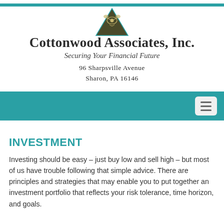[Figure (logo): Cottonwood Associates Inc. logo — an ornate triangle emblem in olive/gold with decorative motif, flanked by a teal horizontal rule]
COTTONWOOD ASSOCIATES, INC.
Securing Your Financial Future
96 Sharpsville Avenue
Sharon, PA 16146
[Figure (other): Teal navigation bar with hamburger menu button on right]
INVESTMENT
Investing should be easy – just buy low and sell high – but most of us have trouble following that simple advice. There are principles and strategies that may enable you to put together an investment portfolio that reflects your risk tolerance, time horizon, and goals.